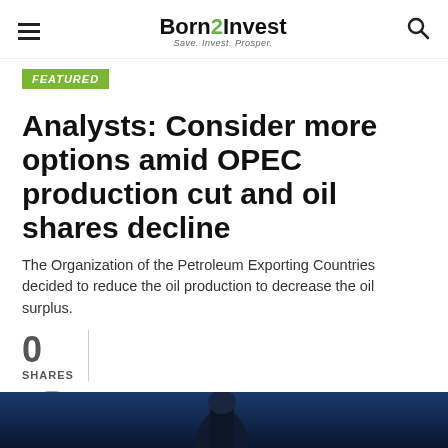Born2Invest — Save. Invest. Prosper.
FEATURED
Analysts: Consider more options amid OPEC production cut and oil shares decline
The Organization of the Petroleum Exporting Countries decided to reduce the oil production to decrease the oil surplus.
0 SHARES
Published 5 years ago on July 26, 2017
By Leah Marie Angelou
[Figure (photo): Dark blue background photo at the bottom of the article page]